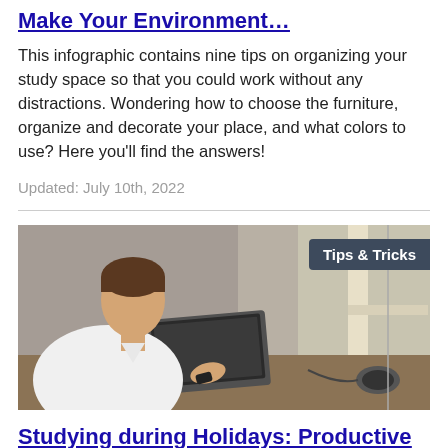Make Your Environment…
This infographic contains nine tips on organizing your study space so that you could work without any distractions. Wondering how to choose the furniture, organize and decorate your place, and what colors to use? Here you'll find the answers!
Updated: July 10th, 2022
[Figure (photo): Young man in white t-shirt sitting at a desk working on a laptop near a window, viewed from the side. A 'Tips & Tricks' badge appears in the upper right corner of the image.]
Studying during Holidays: Productive Winter Break 2022